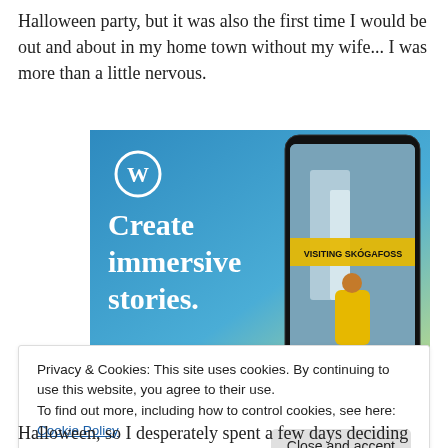Halloween party, but it was also the first time I would be out and about in my home town without my wife... I was more than a little nervous.
[Figure (screenshot): WordPress advertisement showing 'Create immersive stories.' text with a phone displaying a waterfall scene labeled 'VISITING SKOGAFOSS']
Privacy & Cookies: This site uses cookies. By continuing to use this website, you agree to their use.
To find out more, including how to control cookies, see here: Cookie Policy
[Close and accept button]
Halloween, so I desperately spent a few days deciding